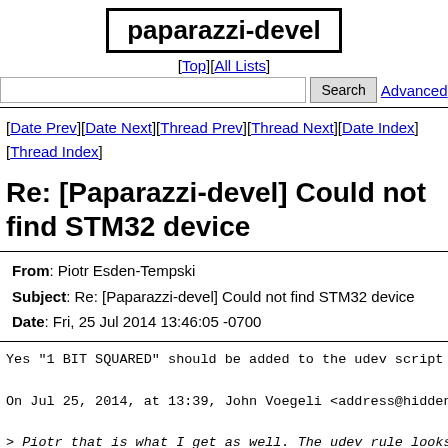paparazzi-devel
[Top][All Lists]
Search  Advanced
[Date Prev][Date Next][Thread Prev][Thread Next][Date Index][Thread Index]
Re: [Paparazzi-devel] Could not find STM32 device
From: Piotr Esden-Tempski
Subject: Re: [Paparazzi-devel] Could not find STM32 device
Date: Fri, 25 Jul 2014 13:46:05 -0700
Yes "1 BIT SQUARED" should be added to the udev script to
On Jul 25, 2014, at 13:39, John Voegeli <address@hidden>
> Piotr that is what I get as well. The udev rule looks _
> from vanilla version of Paparazzi):
>
> ATTR{manufacturer}=="Transition Robotics Inc.", ATTR{pr